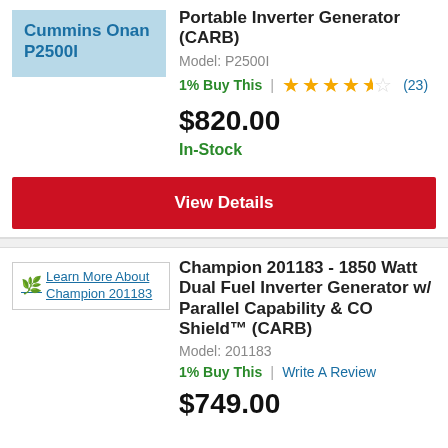[Figure (screenshot): Product thumbnail placeholder with light blue background showing text 'Cummins Onan P2500I']
Portable Inverter Generator (CARB)
Model: P2500I
1% Buy This | ★★★★½ (23)
$820.00
In-Stock
View Details
[Figure (screenshot): Product thumbnail with border showing leaf icon and text 'Learn More About Champion 201183']
Champion 201183 - 1850 Watt Dual Fuel Inverter Generator w/ Parallel Capability & CO Shield™ (CARB)
Model: 201183
1% Buy This | Write A Review
$749.00